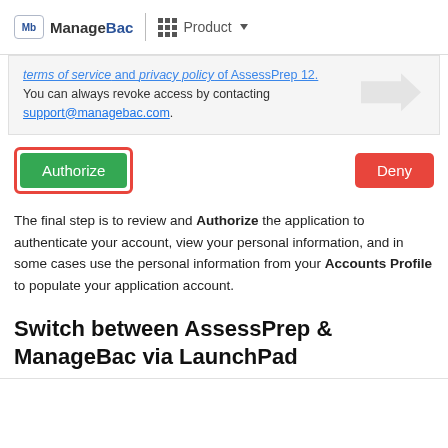ManageBac  Product
terms of service and privacy policy of AssessPrep 12. You can always revoke access by contacting support@managebac.com.
[Figure (screenshot): Authorize button (green, highlighted with red border) on the left and Deny button (red) on the right]
The final step is to review and Authorize the application to authenticate your account, view your personal information, and in some cases use the personal information from your Accounts Profile to populate your application account.
Switch between AssessPrep & ManageBac via LaunchPad